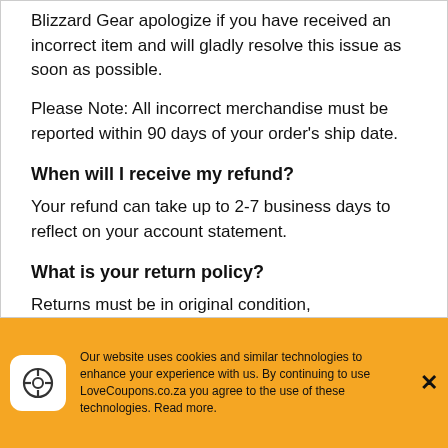Blizzard Gear apologize if you have received an incorrect item and will gladly resolve this issue as soon as possible.
Please Note: All incorrect merchandise must be reported within 90 days of your order's ship date.
When will I receive my refund?
Your refund can take up to 2-7 business days to reflect on your account statement.
What is your return policy?
Returns must be in original condition, unworn/unused with original tags and labels.
Our website uses cookies and similar technologies to enhance your experience with us. By continuing to use LoveCoupons.co.za you agree to the use of these technologies. Read more.